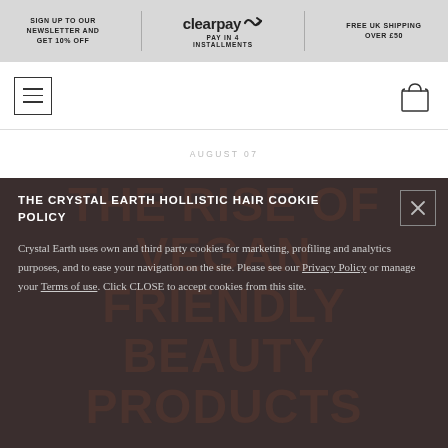SIGN UP TO OUR NEWSLETTER AND GET 10% OFF | clearpay PAY IN 4 INSTALLMENTS | FREE UK SHIPPING OVER £50
[Figure (screenshot): Navigation bar with hamburger menu icon on left and shopping bag icon on right]
AUGUST 07
THE CRYSTAL EARTH HOLLISTIC HAIR COOKIE POLICY
Crystal Earth uses own and third party cookies for marketing, profiling and analytics purposes, and to ease your navigation on the site. Please see our Privacy Policy or manage your Terms of use. Click CLOSE to accept cookies from this site.